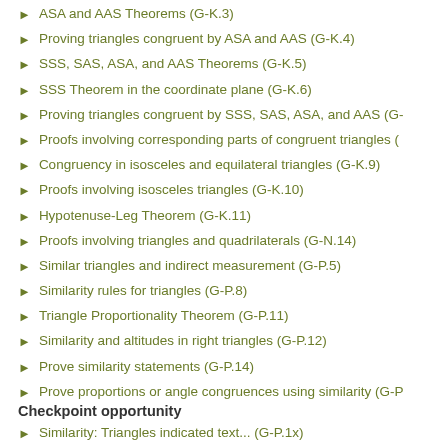ASA and AAS Theorems (G-K.3)
Proving triangles congruent by ASA and AAS (G-K.4)
SSS, SAS, ASA, and AAS Theorems (G-K.5)
SSS Theorem in the coordinate plane (G-K.6)
Proving triangles congruent by SSS, SAS, ASA, and AAS (G-
Proofs involving corresponding parts of congruent triangles (
Congruency in isosceles and equilateral triangles (G-K.9)
Proofs involving isosceles triangles (G-K.10)
Hypotenuse-Leg Theorem (G-K.11)
Proofs involving triangles and quadrilaterals (G-N.14)
Similar triangles and indirect measurement (G-P.5)
Similarity rules for triangles (G-P.8)
Triangle Proportionality Theorem (G-P.11)
Similarity and altitudes in right triangles (G-P.12)
Prove similarity statements (G-P.14)
Prove proportions or angle congruences using similarity (G-P
Checkpoint opportunity
Similarity: Triangles indicated text... (G-P.1x)